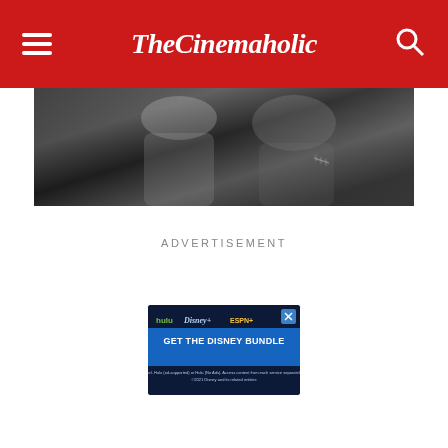TheCinemaholic
[Figure (photo): Black and white photo of two people, appears to be a movie scene. One figure shows stitches/scars on their arm.]
ADVERTISEMENT
[Figure (screenshot): Disney Bundle advertisement showing Hulu, Disney+, and ESPN+ logos with 'GET THE DISNEY BUNDLE' call to action button. Fine print: 'Incl. Hulu (ad-supported) or Hulu (No Ads). Access content from each service separately. ©2021 Disney and its related entities']